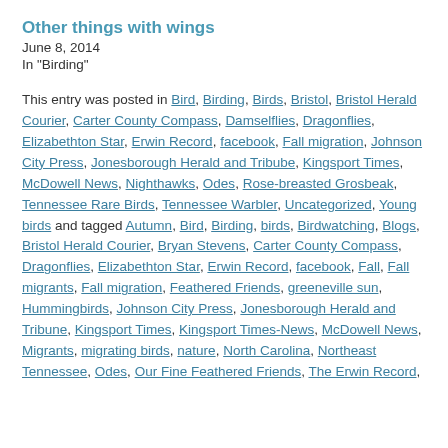Other things with wings
June 8, 2014
In "Birding"
This entry was posted in Bird, Birding, Birds, Bristol, Bristol Herald Courier, Carter County Compass, Damselflies, Dragonflies, Elizabethton Star, Erwin Record, facebook, Fall migration, Johnson City Press, Jonesborough Herald and Tribube, Kingsport Times, McDowell News, Nighthawks, Odes, Rose-breasted Grosbeak, Tennessee Rare Birds, Tennessee Warbler, Uncategorized, Young birds and tagged Autumn, Bird, Birding, birds, Birdwatching, Blogs, Bristol Herald Courier, Bryan Stevens, Carter County Compass, Dragonflies, Elizabethton Star, Erwin Record, facebook, Fall, Fall migrants, Fall migration, Feathered Friends, greeneville sun, Hummingbirds, Johnson City Press, Jonesborough Herald and Tribune, Kingsport Times, Kingsport Times-News, McDowell News, Migrants, migrating birds, nature, North Carolina, Northeast Tennessee, Odes, Our Fine Feathered Friends, The Erwin Record,